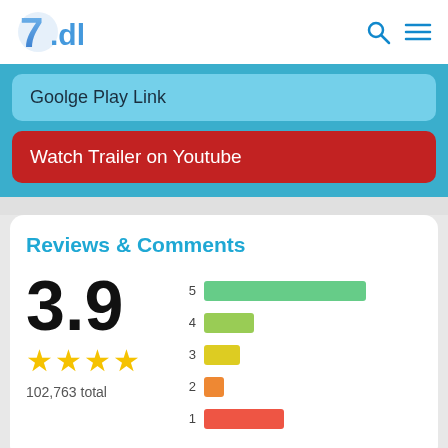[Figure (logo): 7.dl logo with stylized blue icon and text]
Goolge Play Link
Watch Trailer on Youtube
Reviews & Comments
[Figure (bar-chart): Rating breakdown]
3.9
★★★★
102,763 total